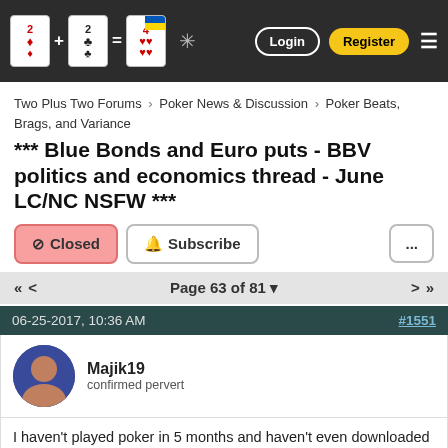Two Plus Two Forums - Poker News & Discussion - Poker Beats, Brags, and Variance | Login | Register
*** Blue Bonds and Euro puts - BBV politics and economics thread - June LC/NC NSFW ***
Closed | Subscribe | ...
Page 63 of 81
06-25-2017, 10:36 AM  #1551
Majik19
confirmed pervert
I haven't played poker in 5 months and haven't even downloaded the PS client since replacing the hard drive.